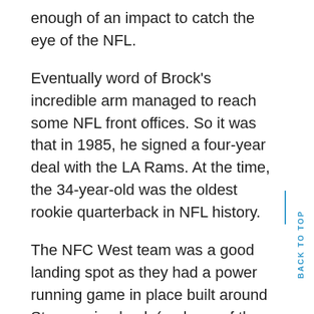enough of an impact to catch the eye of the NFL.
Eventually word of Brock's incredible arm managed to reach some NFL front offices. So it was that in 1985, he signed a four-year deal with the LA Rams. At the time, the 34-year-old was the oldest rookie quarterback in NFL history.
The NFC West team was a good landing spot as they had a power running game in place built around Star running back (and one of the few 2,000 yard men in pro football), Eric Dickerson.
When asked what he thought of his new teammate Dickerson, answered, “He’s soooo old.”
The Rams O Line could have done a better job of